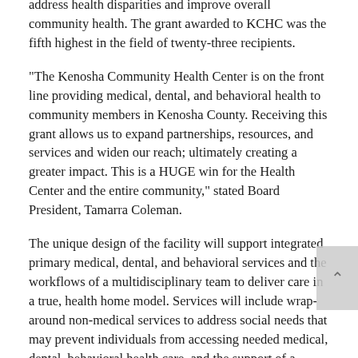address health disparities and improve overall community health. The grant awarded to KCHC was the fifth highest in the field of twenty-three recipients.
“The Kenosha Community Health Center is on the front line providing medical, dental, and behavioral health to community members in Kenosha County. Receiving this grant allows us to expand partnerships, resources, and services and widen our reach; ultimately creating a greater impact. This is a HUGE win for the Health Center and the entire community,” stated Board President, Tamarra Coleman.
The unique design of the facility will support integrated primary medical, dental, and behavioral services and the workflows of a multidisciplinary team to deliver care in a true, health home model. Services will include wrap-around non-medical services to address social needs that may prevent individuals from accessing needed medical, dental, behavioral health care, and the support of a pharmacist to help obtain medications.